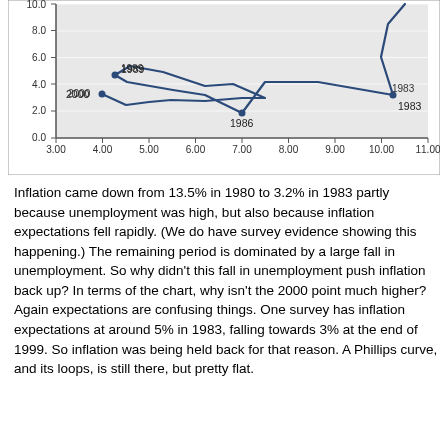[Figure (continuous-plot): Phillips curve scatter/line chart showing inflation (y-axis, 0.0 to 10.0) vs unemployment (x-axis, 3.00 to 11.00) with labeled data points for years 1983, 1986, 1989, 2000, and a looping trajectory line connecting the data points.]
Inflation came down from 13.5% in 1980 to 3.2% in 1983 partly because unemployment was high, but also because inflation expectations fell rapidly. (We do have survey evidence showing this happening.) The remaining period is dominated by a large fall in unemployment. So why didn't this fall in unemployment push inflation back up? In terms of the chart, why isn't the 2000 point much higher? Again expectations are confusing things. One survey has inflation expectations at around 5% in 1983, falling towards 3% at the end of 1999. So inflation was being held back for that reason. A Phillips curve, and its loops, is still there, but pretty flat.